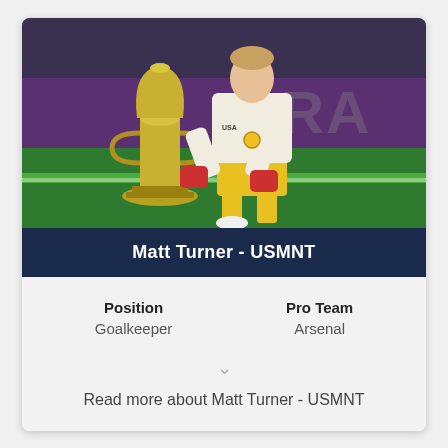[Figure (photo): Matt Turner, USMNT goalkeeper, kneeling on soccer field grass holding a trophy (gold/silver cup), wearing yellow shorts, yellow gloves, white shirt, and gold medal around neck. Stadium and green text visible in background.]
Matt Turner - USMNT
| Position | Pro Team |
| --- | --- |
| Goalkeeper | Arsenal |
Read more about Matt Turner - USMNT